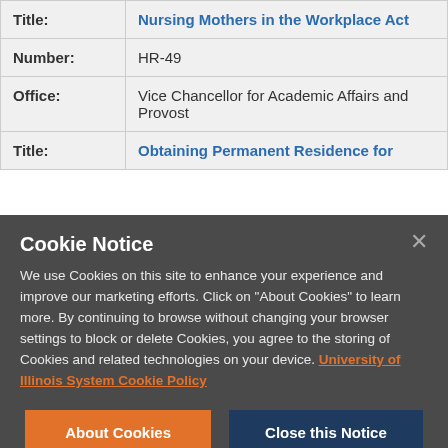| Title: | Nursing Mothers in the Workplace Act |
| Number: | HR-49 |
| Office: | Vice Chancellor for Academic Affairs and Provost |
| Title: | Obtaining Permanent Residence for |
Cookie Notice

We use Cookies on this site to enhance your experience and improve our marketing efforts. Click on "About Cookies" to learn more. By continuing to browse without changing your browser settings to block or delete Cookies, you agree to the storing of Cookies and related technologies on your device. University of Illinois System Cookie Policy